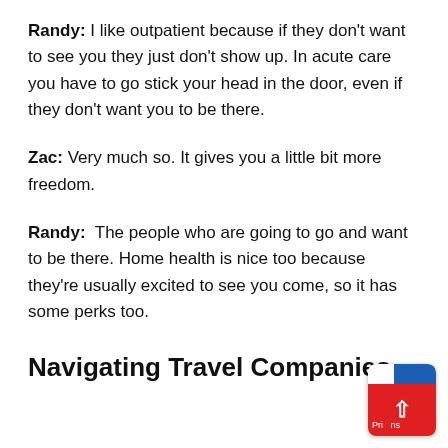Randy: I like outpatient because if they don't want to see you they just don't show up. In acute care you have to go stick your head in the door, even if they don't want you to be there.
Zac: Very much so. It gives you a little bit more freedom.
Randy: The people who are going to go and want to be there. Home health is nice too because they're usually excited to see you come, so it has some perks too.
Navigating Travel Companies